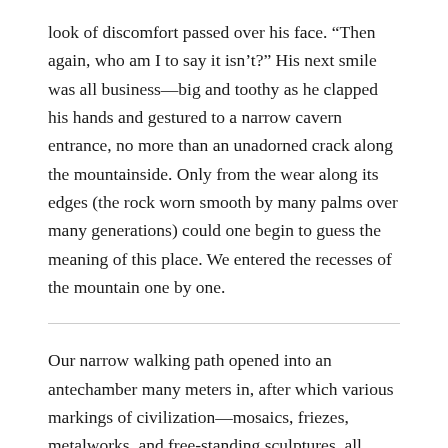look of discomfort passed over his face. “Then again, who am I to say it isn’t?” His next smile was all business—big and toothy as he clapped his hands and gestured to a narrow cavern entrance, no more than an unadorned crack along the mountainside. Only from the wear along its edges (the rock worn smooth by many palms over many generations) could one begin to guess the meaning of this place. We entered the recesses of the mountain one by one.
Our narrow walking path opened into an antechamber many meters in, after which various markings of civilization—mosaics, friezes, metalworks, and free-standing sculptures, all given the impression of movement by torchlight—flooded our field of view.
“Shouldn’t this place be cordoned off?” said Hersh. “For